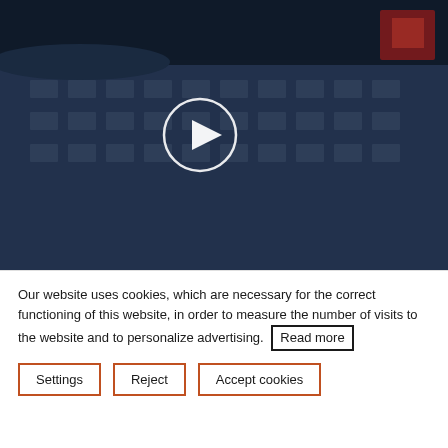[Figure (photo): University building exterior at night/dusk with dark blue overlay and a circular play button in the center]
CONTACT
FACULTIES AND DEPARTMENTS
FAST LINKS
Our website uses cookies, which are necessary for the correct functioning of this website, in order to measure the number of visits to the website and to personalize advertising. Read more
Settings
Reject
Accept cookies